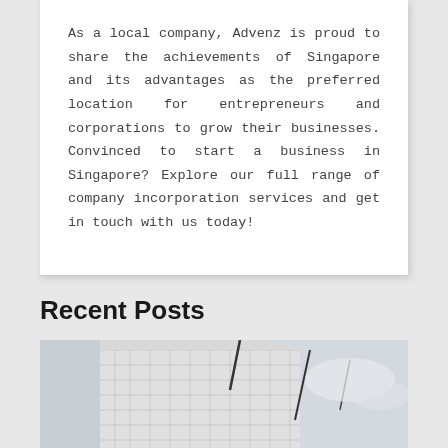As a local company, Advenz is proud to share the achievements of Singapore and its advantages as the preferred location for entrepreneurs and corporations to grow their businesses. Convinced to start a business in Singapore? Explore our full range of company incorporation services and get in touch with us today!
Recent Posts
[Figure (photo): Partial view of a modern building with geometric facade and sky in the background, black and white/grayscale tone]